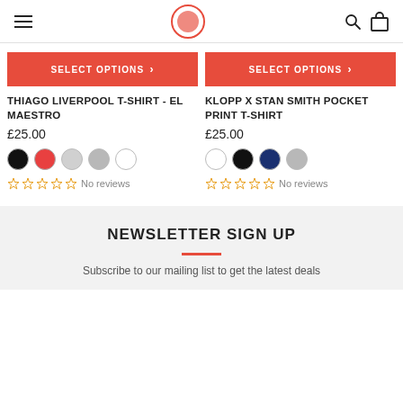Navigation bar with hamburger menu, logo, search and bag icons
[Figure (screenshot): SELECT OPTIONS button for Thiago Liverpool T-Shirt]
THIAGO LIVERPOOL T-SHIRT - EL MAESTRO
£25.00
[Figure (illustration): Color swatches: black, red, light grey, grey, white]
No reviews
[Figure (screenshot): SELECT OPTIONS button for Klopp x Stan Smith Pocket Print T-Shirt]
KLOPP X STAN SMITH POCKET PRINT T-SHIRT
£25.00
[Figure (illustration): Color swatches: white, black, navy blue, grey]
No reviews
NEWSLETTER SIGN UP
Subscribe to our mailing list to get the latest deals